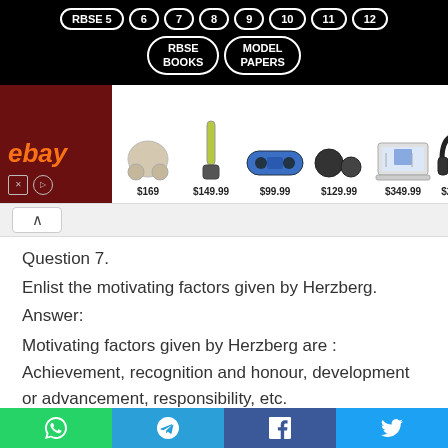RBSE 5  6  7  8  9  10  11  12  RBSE BOOKS  MODEL PAPERS
[Figure (screenshot): eBay advertisement banner showing products at prices $169, $149.99, $99.99, $129.99, $349.99, $299.99]
Question 7.
Enlist the motivating factors given by Herzberg.
Answer:
Motivating factors given by Herzberg are : Achievement, recognition and honour, development or advancement, responsibility, etc.
Question 8.
WhatsApp  Telegram  Facebook  Twitter share buttons